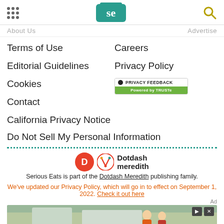Serious Eats header with logo
About Us
Advertise
Terms of Use
Careers
Editorial Guidelines
Privacy Policy
Cookies
[Figure (logo): Privacy Feedback Powered by TRUSTe badge]
Contact
California Privacy Notice
Do Not Sell My Personal Information
[Figure (logo): Dotdash Meredith logo]
Serious Eats is part of the Dotdash Meredith publishing family.
We've updated our Privacy Policy, which will go in to effect on September 1, 2022. Check it out here
[Figure (photo): Advertisement image showing two people outside a house]